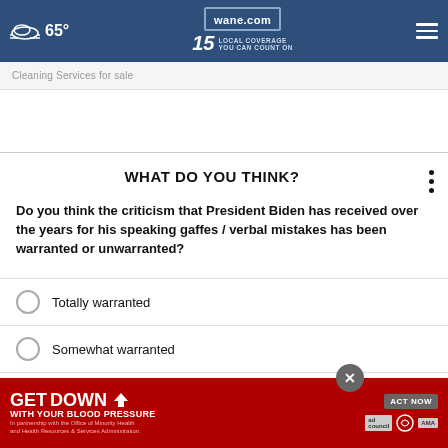65° wane.com 15 LOCAL COVERAGE YOU CAN COUNT ON
Cleaning Services for sale
WHAT DO YOU THINK?
Do you think the criticism that President Biden has received over the years for his speaking gaffes / verbal mistakes has been warranted or unwarranted?
Totally warranted
Somewhat warranted
Somewhat unwarranted
Totally unwarranted
[Figure (other): Advertisement: GET DOWN WITH YOUR BLOOD PRESSURE - ACT NOW - In partnership with the Office of Minority Health and Health Resources & Services Administration. Logos: ad council, American Heart Association, AMA]